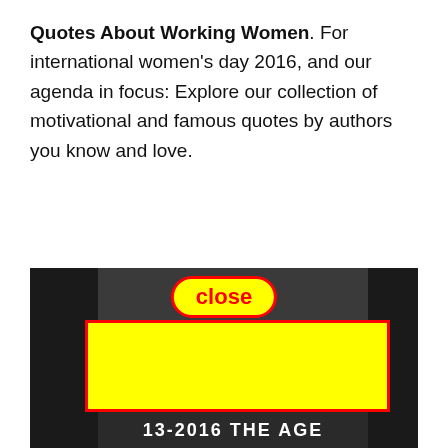Quotes About Working Women. For international women's day 2016, and our agenda in focus: Explore our collection of motivational and famous quotes by authors you know and love.
[Figure (screenshot): A screenshot of a webpage showing an advertisement overlay on a car interior background image. A yellow 'close' button with red border appears at the top center, and a large yellow rectangle with red border covers most of the image. At the bottom, partial text reads '13-2016 THE AGE'.]